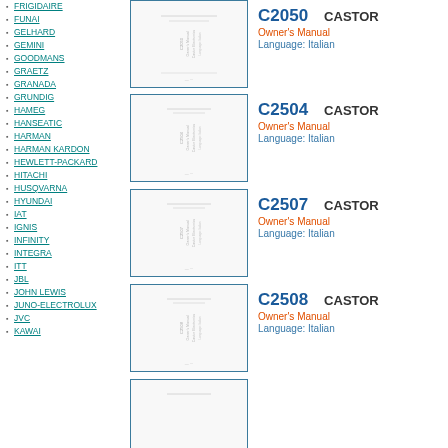FRIGIDAIRE
FUNAI
GELHARD
GEMINI
GOODMANS
GRAETZ
GRANADA
GRUNDIG
HAMEG
HANSEATIC
HARMAN
HARMAN KARDON
HEWLETT-PACKARD
HITACHI
HUSQVARNA
HYUNDAI
IAT
IGNIS
INFINITY
INTEGRA
ITT
JBL
JOHN LEWIS
JUNO-ELECTROLUX
JVC
KAWAI
[Figure (illustration): Thumbnail of Castor C2050 Owner's Manual cover page]
C2050  CASTOR
Owner's Manual
Language: Italian
[Figure (illustration): Thumbnail of Castor C2504 Owner's Manual cover page]
C2504  CASTOR
Owner's Manual
Language: Italian
[Figure (illustration): Thumbnail of Castor C2507 Owner's Manual cover page]
C2507  CASTOR
Owner's Manual
Language: Italian
[Figure (illustration): Thumbnail of Castor C2508 Owner's Manual cover page]
C2508  CASTOR
Owner's Manual
Language: Italian